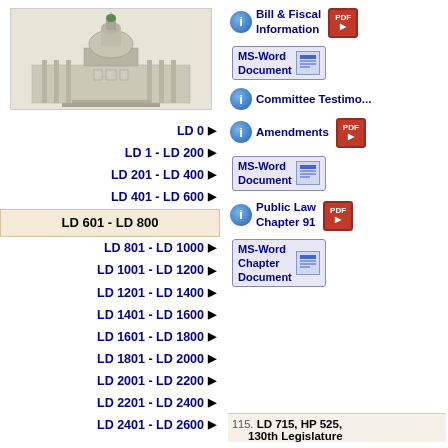[Figure (illustration): Maine State Capitol building illustration in grayscale with green dome]
LD 0 ▶
LD 1 - LD 200 ▶
LD 201 - LD 400 ▶
LD 401 - LD 600 ▶
LD 601 - LD 800 (active/selected)
LD 801 - LD 1000 ▶
LD 1001 - LD 1200 ▶
LD 1201 - LD 1400 ▶
LD 1401 - LD 1600 ▶
LD 1601 - LD 1800 ▶
LD 1801 - LD 2000 ▶
LD 2001 - LD 2200 ▶
LD 2201 - LD 2400 ▶
LD 2401 - LD 2600 ▶
Bill & Fiscal Information
MS-Word Document
Committee Testimony
Amendments
MS-Word Document
Public Law Chapter 91
MS-Word Chapter Document
115. LD 715, HP 525, 130th Legislature